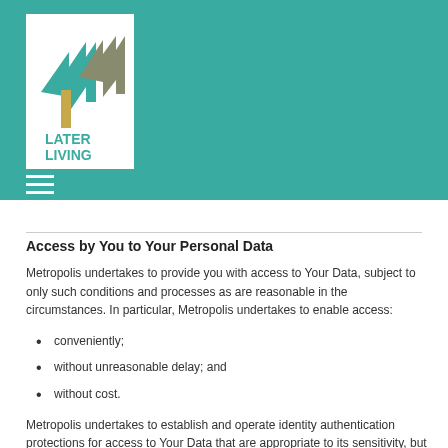[Figure (logo): Later Living logo — teal and grey house/arrow shapes above the text LATER LIVING in teal and gold]
Access by You to Your Personal Data
Metropolis undertakes to provide you with access to Your Data, subject to only such conditions and processes as are reasonable in the circumstances. In particular, Metropolis undertakes to enable access:
conveniently;
without unreasonable delay; and
without cost.
Metropolis undertakes to establish and operate identity authentication protections for access to Your Data that are appropriate to its sensitivity, but practical. This may involve some inconvenience; for example, relatively straightforward procedures